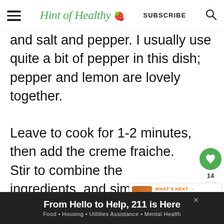Hint of Healthy 🍓 | SUBSCRIBE
and salt and pepper. I usually use quite a bit of pepper in this dish; pepper and lemon are lovely together.
Leave to cook for 1-2 minutes, then add the creme fraiche. Stir to combine the ingredients, and simmer for about 3 minutes until the sa…
[Figure (infographic): Green heart/save button with count 14 and share button]
[Figure (infographic): What's Next panel: Instant Pot Chicken Pasta with thumbnail]
From Hello to Help, 211 is Here | Food • Housing • Utilities Assistance • Mental Health